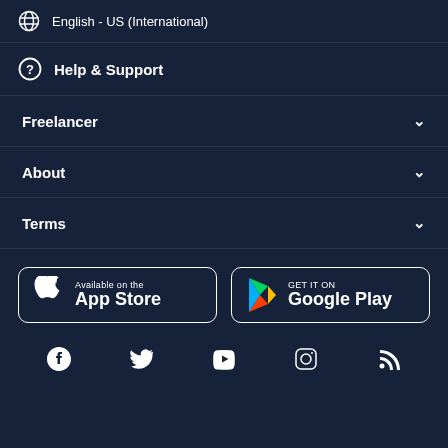English - US (International)
Help & Support
Freelancer
About
Terms
[Figure (logo): Available on the App Store button]
[Figure (logo): GET IT ON Google Play button]
[Figure (infographic): Social media icons: Facebook, Twitter, YouTube, Instagram, RSS]